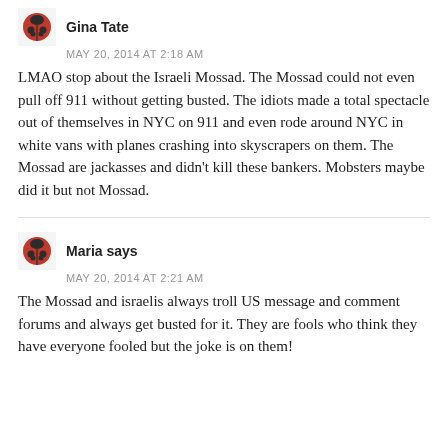Gina Tate
MAY 20, 2014 AT 2:18 AM
LMAO stop about the Israeli Mossad. The Mossad could not even pull off 911 without getting busted. The idiots made a total spectacle out of themselves in NYC on 911 and even rode around NYC in white vans with planes crashing into skyscrapers on them. The Mossad are jackasses and didn't kill these bankers. Mobsters maybe did it but not Mossad.
Maria says
MAY 20, 2014 AT 2:21 AM
The Mossad and israelis always troll US message and comment forums and always get busted for it. They are fools who think they have everyone fooled but the joke is on them!